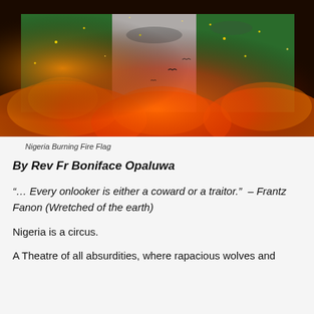[Figure (photo): A dramatic image of the Nigerian flag with green and white stripes engulfed in fire and glowing embers against a dark background.]
Nigeria Burning Fire Flag
By Rev Fr Boniface Opaluwa
“… Every onlooker is either a coward or a traitor.” – Frantz Fanon (Wretched of the earth)
Nigeria is a circus.
A Theatre of all absurdities, where rapacious wolves and